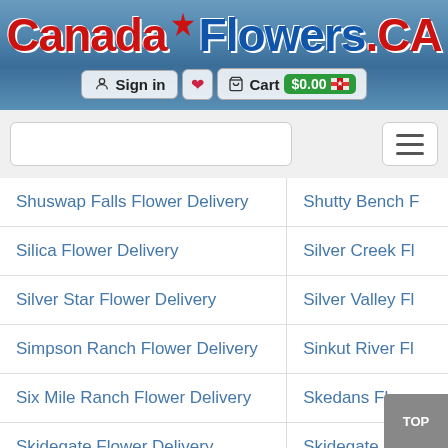[Figure (logo): CanadaFlowers.CA logo with maple leaf, red Canada text, blue Flowers text, red .CA text]
[Figure (screenshot): Navigation bar with Sign in button, heart icon, Cart $0.00 with Canadian flag]
[Figure (screenshot): Search input box and hamburger menu button]
| Shuswap Falls Flower Delivery | Shutty Bench F... |
| Silica Flower Delivery | Silver Creek Fl... |
| Silver Star Flower Delivery | Silver Valley Fl... |
| Simpson Ranch Flower Delivery | Sinkut River Fl... |
| Six Mile Ranch Flower Delivery | Skedans Flowe... |
| Skidegate Flower Delivery | Skidegate Land... |
| Slesse Park Flower Delivery | Sliammon Flow... |
| Smithers Landing Flower Delivery | Solsqua Flowe... |